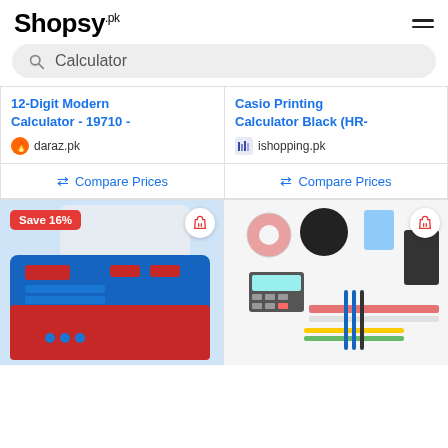Shopsy.pk
Calculator
12-Digit Modern Calculator - 19710 -
daraz.pk
Compare Prices
Casio Printing Calculator Black (HR-
ishopping.pk
Compare Prices
[Figure (photo): Blue and red plastic printing calculator with Save 16% badge and bell icon]
[Figure (photo): Stationery set with calculator, tape, pens, ruler, and office supplies with bell icon]